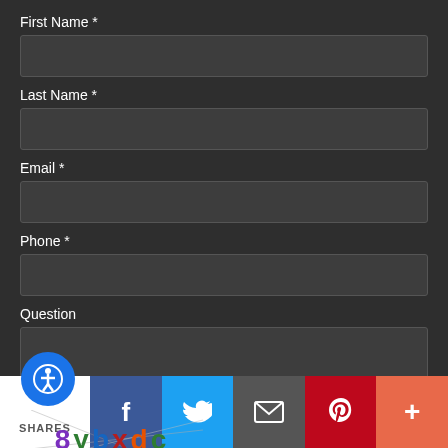First Name *
Last Name *
Email *
Phone *
Question
[Figure (other): CAPTCHA image with text '8ybxdc' in mixed colors (purple, green, blue, orange) with diagonal lines crossing through it on a light gray background]
[Figure (infographic): Social sharing bar with accessibility icon, Facebook, Twitter, Email, Pinterest, and More (+) buttons. Shows SHARES label.]